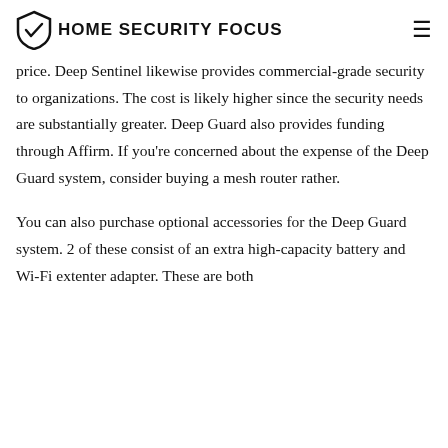HOME SECURITY FOCUS
price. Deep Sentinel likewise provides commercial-grade security to organizations. The cost is likely higher since the security needs are substantially greater. Deep Guard also provides funding through Affirm. If you’re concerned about the expense of the Deep Guard system, consider buying a mesh router rather.
You can also purchase optional accessories for the Deep Guard system. 2 of these consist of an extra high-capacity battery and Wi-Fi extenter adapter. These are both